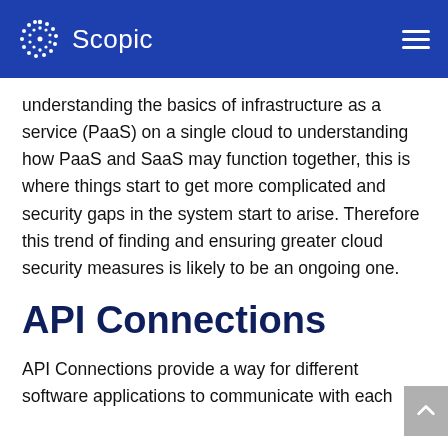Scopic
understanding the basics of infrastructure as a service (PaaS) on a single cloud to understanding how PaaS and SaaS may function together, this is where things start to get more complicated and security gaps in the system start to arise. Therefore this trend of finding and ensuring greater cloud security measures is likely to be an ongoing one.
API Connections
API Connections provide a way for different software applications to communicate with each